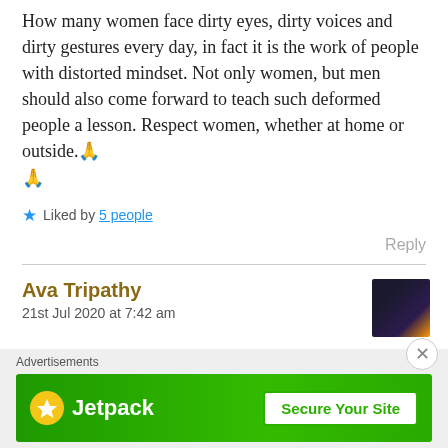How many women face dirty eyes, dirty voices and dirty gestures every day, in fact it is the work of people with distorted mindset. Not only women, but men should also come forward to teach such deformed people a lesson. Respect women, whether at home or outside.🙏🙏
★ Liked by 5 people
Reply
Ava Tripathy
21st Jul 2020 at 7:42 am
[Figure (other): Jetpack advertisement banner with green background showing Jetpack logo and 'Secure Your Site' button]